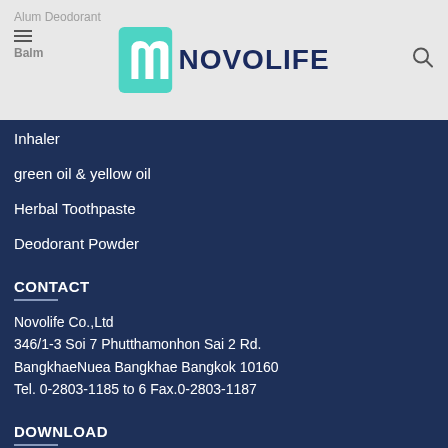[Figure (logo): Novolife company logo with teal leaf/n icon and dark blue NOVOLIFE text, on gray header bar with hamburger menu, Alum Deodorant Balm partial text, and search icon]
Inhaler
green oil & yellow oil
Herbal Toothpaste
Deodorant Powder
CONTACT
Novolife Co.,Ltd
346/1-3 Soi 7 Phutthamonhon Sai 2 Rd.
BangkhaeNuea Bangkhae Bangkok 10160
Tel. 0-2803-1185 to 6 Fax.0-2803-1187
DOWNLOAD